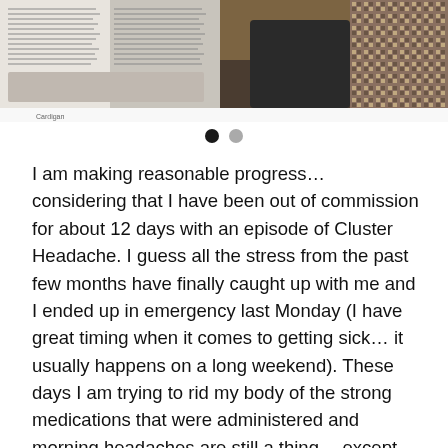[Figure (photo): A photo strip at the top showing two people side by side. The left portion shows text overlaid on a light background with small print. The right portion shows a person wearing a patterned jacket/cardigan with a black outfit against a warm background.]
Cardigan
I am making reasonable progress… considering that I have been out of commission for about 12 days with an episode of Cluster Headache. I guess all the stress from the past few months have finally caught up with me and I ended up in emergency last Monday (I have great timing when it comes to getting sick… it usually happens on a long weekend). These days I am trying to rid my body of the strong medications that were administered and morning headaches are still a thing… except for yesterday.
I woke up clear-headed and with some energy. That was the cue for me to follow through on a long overdue task: I had to take a resolution of progress in the personal project.